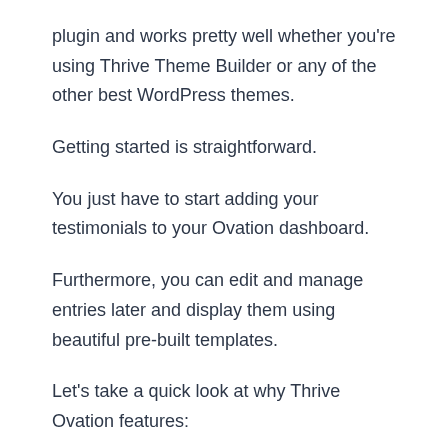plugin and works pretty well whether you're using Thrive Theme Builder or any of the other best WordPress themes.
Getting started is straightforward.
You just have to start adding your testimonials to your Ovation dashboard.
Furthermore, you can edit and manage entries later and display them using beautiful pre-built templates.
Let's take a quick look at why Thrive Ovation features:
70 professionally designed testimonial templates
Central management system for testimonials all in